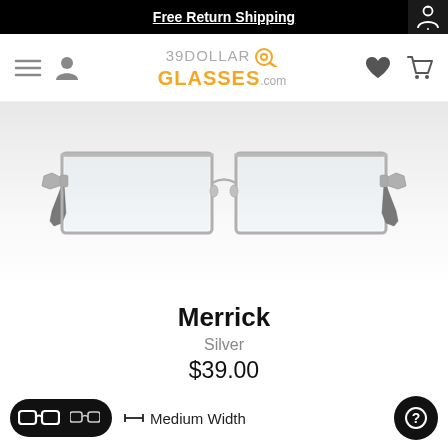Free Return Shipping
[Figure (logo): 39DollarGlasses.com logo with hamburger menu, user icon, heart, and cart icons]
[Figure (photo): Silver metal rectangular eyeglasses frame (Merrick) on light gray background]
Merrick
Silver
$39.00
[Figure (other): Silver color swatch circle]
↔ Medium Width